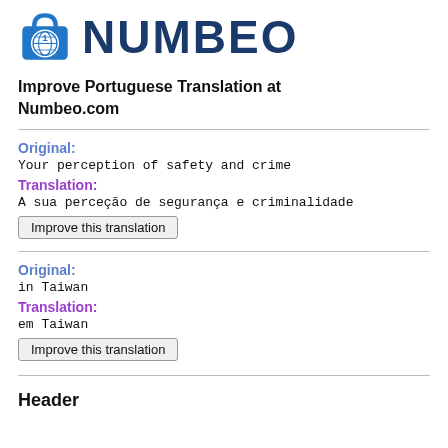[Figure (logo): Numbeo logo with shopping bag icon and globe symbol, followed by bold dark blue text 'NUMBEO']
Improve Portuguese Translation at Numbeo.com
Original:
Your perception of safety and crime
Translation:
A sua perceção de segurança e criminalidade
Improve this translation
Original:
in Taiwan
Translation:
em Taiwan
Improve this translation
Header